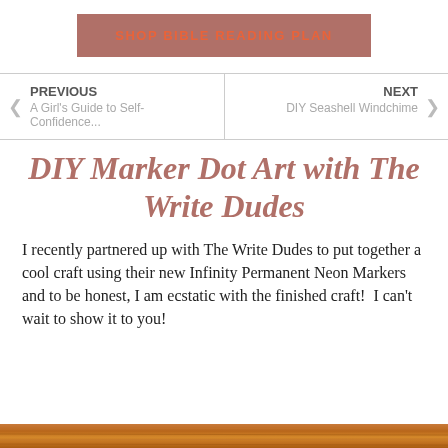[Figure (other): Button with terracotta/mauve background labeled SHOP BIBLE READING PLAN in orange uppercase bold text]
PREVIOUS
A Girl's Guide to Self-Confidence...
NEXT
DIY Seashell Windchime
DIY Marker Dot Art with The Write Dudes
I recently partnered up with The Write Dudes to put together a cool craft using their new Infinity Permanent Neon Markers and to be honest, I am ecstatic with the finished craft!  I can't wait to show it to you!
[Figure (photo): Wooden surface photo at bottom edge of page]